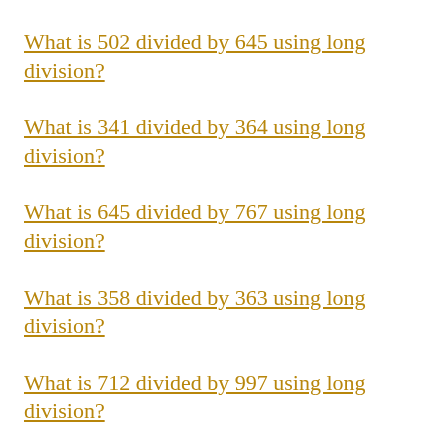What is 502 divided by 645 using long division?
What is 341 divided by 364 using long division?
What is 645 divided by 767 using long division?
What is 358 divided by 363 using long division?
What is 712 divided by 997 using long division?